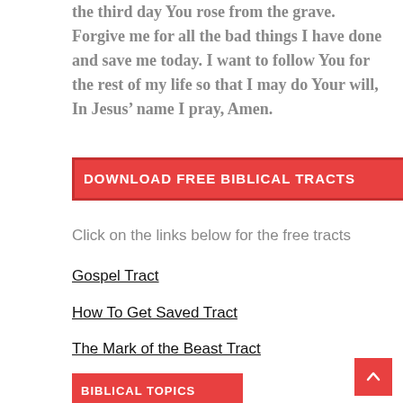the third day You rose from the grave. Forgive me for all the bad things I have done and save me today. I want to follow You for the rest of my life so that I may do Your will, In Jesus’ name I pray, Amen.
DOWNLOAD FREE BIBLICAL TRACTS
Click on the links below for the free tracts
Gospel Tract
How To Get Saved Tract
The Mark of the Beast Tract
BIBLICAL TOPICS